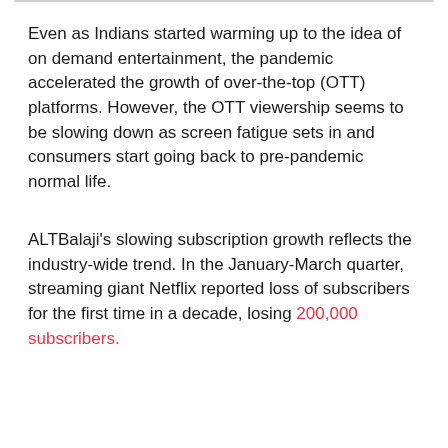Even as Indians started warming up to the idea of on demand entertainment, the pandemic accelerated the growth of over-the-top (OTT) platforms. However, the OTT viewership seems to be slowing down as screen fatigue sets in and consumers start going back to pre-pandemic normal life.
ALTBalaji's slowing subscription growth reflects the industry-wide trend. In the January-March quarter, streaming giant Netflix reported loss of subscribers for the first time in a decade, losing 200,000 subscribers.